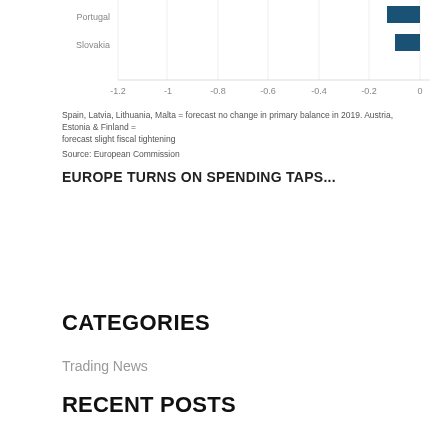[Figure (bar-chart): Partial horizontal bar chart showing bars for Portugal and Slovakia near 0 on a scale from -1.2 to 0]
Spain, Latvia, Lithuania, Malta = forecast no change in primary balance in 2019. Austria, Estonia & Finland = forecast slight fiscal tightening
Source: European Commission
EUROPE TURNS ON SPENDING TAPS...
CATEGORIES
Trading News
RECENT POSTS
Europe turns on spending taps as austerity comes to an end
Global economy: Why central bankers blinked